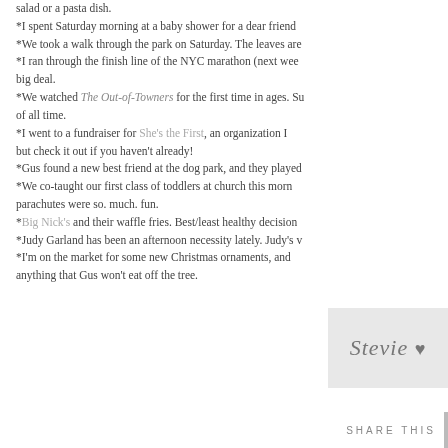salad or a pasta dish.
*I spent Saturday morning at a baby shower for a dear friend
*We took a walk through the park on Saturday. The leaves are
*I ran through the finish line of the NYC marathon (next week big deal.
*We watched The Out-of-Towners for the first time in ages. S of all time.
*I went to a fundraiser for She's the First, an organization I but check it out if you haven't already!
*Gus found a new best friend at the dog park, and they played
*We co-taught our first class of toddlers at church this morn parachutes were so. much. fun.
*Big Nick's and their waffle fries. Best/least healthy decision
*Judy Garland has been an afternoon necessity lately. Judy's v
*I'm on the market for some new Christmas ornaments, and anything that Gus won't eat off the tree.
[Figure (illustration): Cursive signature reading 'Stevie' on a light gray background]
SHARE THIS